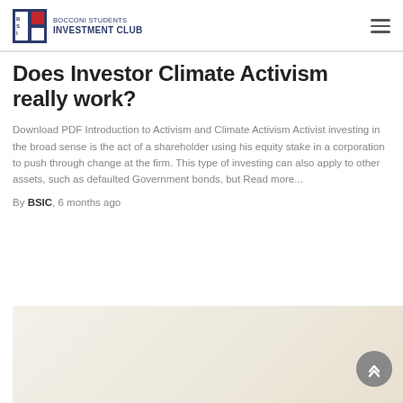BOCCONI STUDENTS INVESTMENT CLUB
Does Investor Climate Activism really work?
Download PDF Introduction to Activism and Climate Activism Activist investing in the broad sense is the act of a shareholder using his equity stake in a corporation to push through change at the firm. This type of investing can also apply to other assets, such as defaulted Government bonds, but Read more...
By BSIC, 6 months ago
[Figure (photo): Partial view of a warm-toned beige/cream colored background image at the bottom of the page]